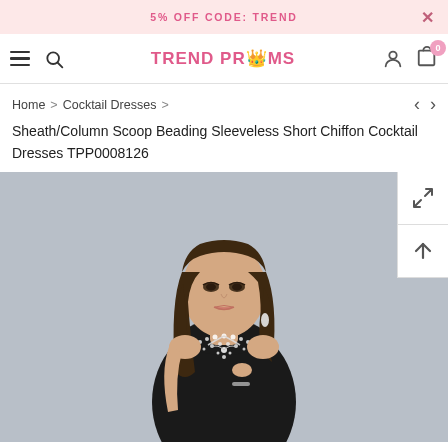5% OFF CODE: TREND
TREND PROMS
Home > Cocktail Dresses >
Sheath/Column Scoop Beading Sleeveless Short Chiffon Cocktail Dresses TPP0008126
[Figure (photo): Model wearing a black sleeveless sheath/column cocktail dress with scoop neckline and silver beading detail on the bodice. Model has long brown wavy hair and is posed against a grey background.]